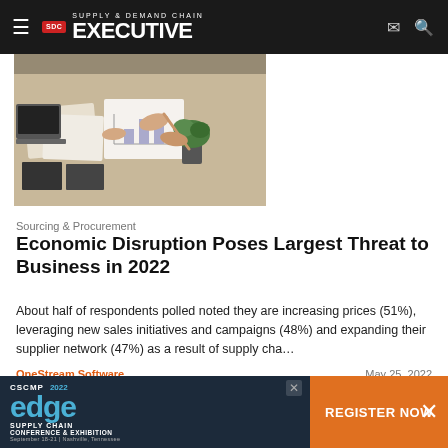SDC Supply & Demand Chain Executive
[Figure (photo): Business people reviewing documents and charts on a table, with a laptop and small plant visible]
Sourcing & Procurement
Economic Disruption Poses Largest Threat to Business in 2022
About half of respondents polled noted they are increasing prices (51%), leveraging new sales initiatives and campaigns (48%) and expanding their supplier network (47%) as a result of supply cha...
OneStream Software
May 25, 2022
[Figure (infographic): CSCMP 2022 Edge Supply Chain Conference & Exhibition advertisement banner with Register Now call to action]